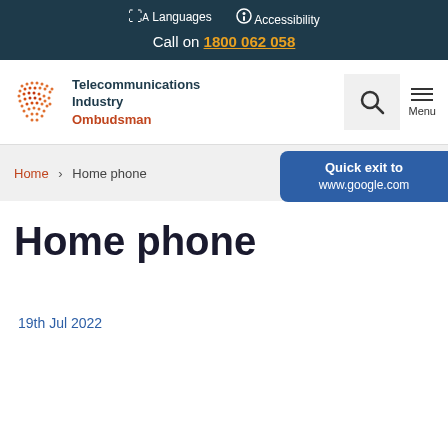Languages  Accessibility  Call on 1800 062 058
[Figure (logo): Telecommunications Industry Ombudsman logo with dot pattern and text]
Home › Home phone
Quick exit to www.google.com
Home phone
19th Jul 2022